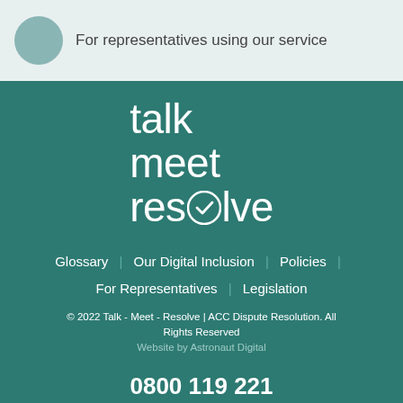For representatives using our service
[Figure (logo): talk meet resolve logo with checkmark in the 'o' of resolve, white text on teal background]
Glossary | Our Digital Inclusion | Policies | For Representatives | Legislation
© 2022 Talk - Meet - Resolve | ACC Dispute Resolution. All Rights Reserved
Website by Astronaut Digital
0800 119 221
info@talkmeetresolve.co.nz